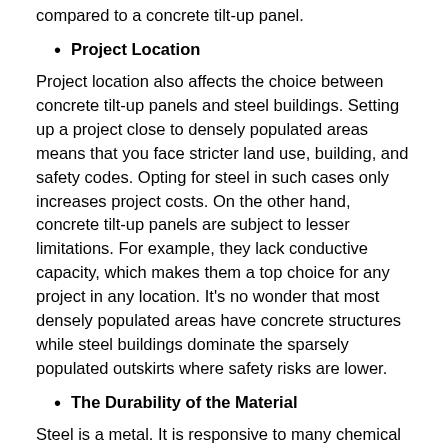compared to a concrete tilt-up panel.
Project Location
Project location also affects the choice between concrete tilt-up panels and steel buildings. Setting up a project close to densely populated areas means that you face stricter land use, building, and safety codes. Opting for steel in such cases only increases project costs. On the other hand, concrete tilt-up panels are subject to lesser limitations. For example, they lack conductive capacity, which makes them a top choice for any project in any location. It's no wonder that most densely populated areas have concrete structures while steel buildings dominate the sparsely populated outskirts where safety risks are lower.
The Durability of the Material
Steel is a metal. It is responsive to many chemical elements present in natural environments. Therefore, steel buildings demand protective coatings to keep prevent rusting, degradation, and weakening. The coatings also need regular maintenance and re-application to ensure that the steel never encounters harmful chemical agents. On the other hand,